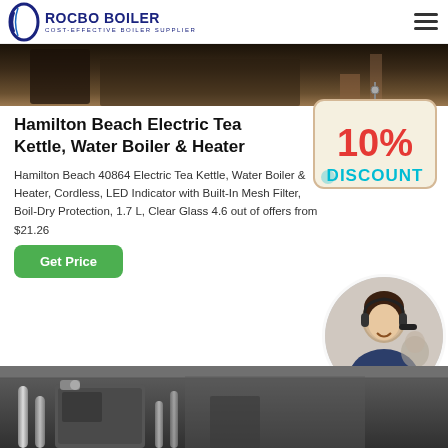ROCBO BOILER — COST-EFFECTIVE BOILER SUPPLIER
[Figure (photo): Top portion of an industrial boiler or kitchen equipment photo, dark warm tones]
Hamilton Beach Electric Tea Kettle, Water Boiler & Heater
Hamilton Beach 40864 Electric Tea Kettle, Water Boiler & Heater, Cordless, LED Indicator with Built-In Mesh Filter, Boil-Dry Protection, 1.7 L, Clear Glass 4.6 out of offers from $21.26
[Figure (illustration): 10% Discount sign badge in red and blue text on a hanging sign graphic]
[Figure (photo): Customer service representative woman wearing headset smiling, circular crop]
[Figure (photo): Bottom industrial boiler room with pipes and machinery, dark tones]